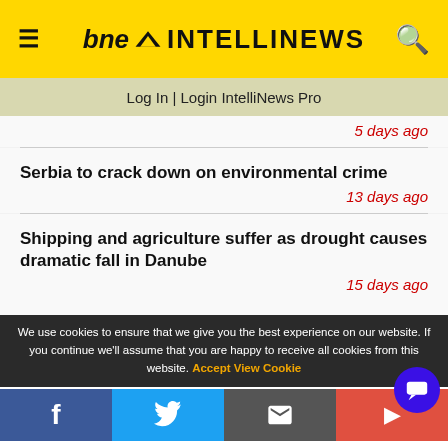bne INTELLINEWS
Log In | Login IntelliNews Pro
5 days ago
Serbia to crack down on environmental crime
13 days ago
Shipping and agriculture suffer as drought causes dramatic fall in Danube
15 days ago
We use cookies to ensure that we give you the best experience on our website. If you continue we'll assume that you are happy to receive all cookies from this website. Accept  View Cookie